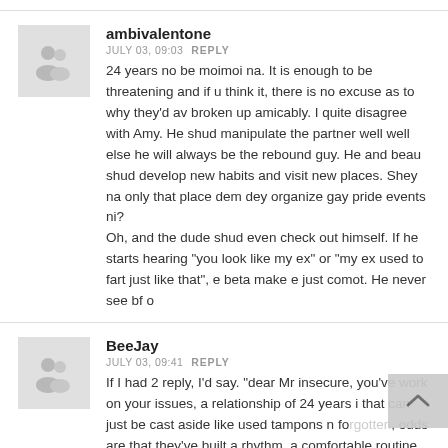ambivalentone
JULY 03, 09:03  REPLY
24 years no be moimoi na. It is enough to be threatening and if u think it, there is no excuse as to why they'd av broken up amicably. I quite disagree with Amy. He shud manipulate the partner well well else he will always be the rebound guy. He and beau shud develop new habits and visit new places. Shey na only that place dem dey organize gay pride events ni?
Oh, and the dude shud even check out himself. If he starts hearing "you look like my ex" or "my ex used to fart just like that", e beta make e just comot. He never see bf o
BeeJay
JULY 03, 09:41  REPLY
If I had 2 reply, I'd say. "dear Mr insecure, you've work on your issues, a relationship of 24 years i that can just be cast aside like used tampons n forgotten, odds are that they've built a rhythm, a comfortable routine, which in fairness you'll have to respect. Your man